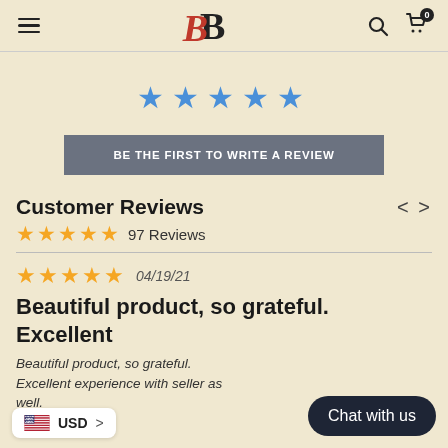BB logo with hamburger menu, search icon, and cart icon (0 items)
[Figure (other): Five blue star rating icons]
BE THE FIRST TO WRITE A REVIEW
Customer Reviews
★★★★★ 97 Reviews
★★★★★ 04/19/21
Beautiful product, so grateful. Excellent
Beautiful product, so grateful. Excellent experience with seller as well.
USD >
Chat with us